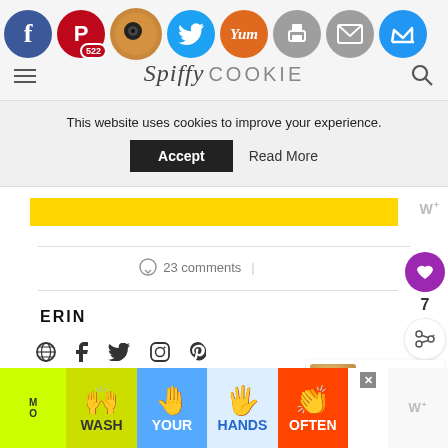[Figure (screenshot): Website screenshot of Spiffy Cookie food blog showing social share icons (Facebook, Pinterest with 522 count, Twitter, Yum, Print, Email, Crown), cookie mascot logo, cookie consent banner reading 'This website uses cookies to improve your experience. Accept / Read More', yellow advertisement banner, comment count of 23, heart/like button with count 7, share button, author name ERIN with social media links (globe, Facebook, Twitter, Instagram, Pinterest), What's Next panel showing Creamy Tomato... article, previous post section, and a colorful Wash Your Hands Often advertisement banner at the bottom.]